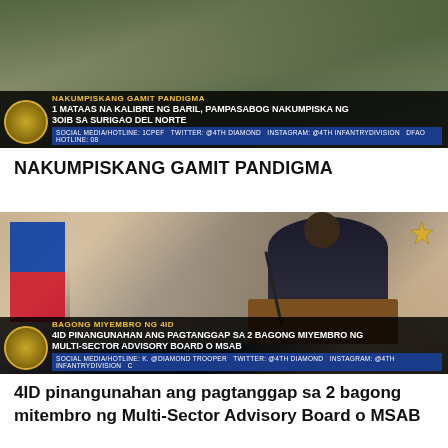[Figure (screenshot): News broadcast screenshot showing military personnel with confiscated items, with banner text 'NAKUMPISKANG GAMIT PANDIGMA' and '1 MATAAS NA KALIBRE NG BARIL, PAMPASABOG NAKUMPISKA NG 3OIB SA SURIGAO DEL NORTE']
NAKUMPISKANG GAMIT PANDIGMA
[Figure (screenshot): News broadcast screenshot showing a person speaking at a podium with Philippine flag in background, banner text 'BAGONG MIYEMBRO NG 4ID' and '4ID PINANGUNAHAN ANG PAGTANGGAP SA 2 BAGONG MIYEMBRO NG MULTI-SECTOR ADVISORY BOARD o MSAB']
4ID pinangunahan ang pagtanggap sa 2 bagong mitembro ng Multi-Sector Advisory Board o MSAB